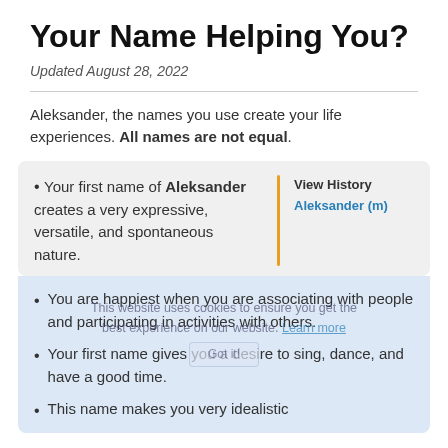Your Name Helping You?
Updated August 28, 2022
Aleksander, the names you use create your life experiences. All names are not equal.
Your first name of Aleksander creates a very expressive, versatile, and spontaneous nature.
You are happiest when you are associating with people and participating in activities with others.
Your first name gives you a desire to sing, dance, and have a good time.
This name makes you very idealistic